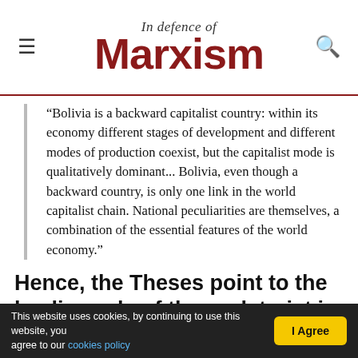In Defence of Marxism
“Bolivia is a backward capitalist country: within its economy different stages of development and different modes of production coexist, but the capitalist mode is qualitatively dominant... Bolivia, even though a backward country, is only one link in the world capitalist chain. National peculiarities are themselves, a combination of the essential features of the world economy.”
Hence, the Theses point to the leading role of the proletariat in the revolution:
“What characterises the proletariat is that it is the only class possessing sufficient strength to achieve not only its
This website uses cookies, by continuing to use this website, you agree to our cookies policy  I Agree